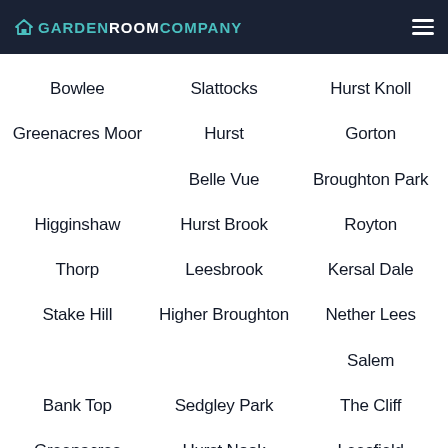GARDEN ROOM COMPANY
Bowlee
Slattocks
Hurst Knoll
Greenacres Moor
Hurst
Gorton
Belle Vue
Broughton Park
Higginshaw
Hurst Brook
Royton
Thorp
Leesbrook
Kersal Dale
Stake Hill
Higher Broughton
Nether Lees
Salem
Bank Top
Sedgley Park
The Cliff
Greenacres
Hurst Nook
Leesfield